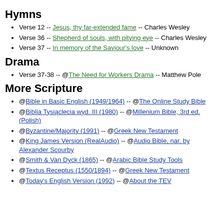Hymns
Verse 12 -- Jesus, thy far-extended fame -- Charles Wesley
Verse 36 -- Shepherd of souls, with pitying eye -- Charles Wesley
Verse 37 -- In memory of the Saviour's love -- Unknown
Drama
Verse 37-38 -- @The Need for Workers Drama -- Matthew Pole
More Scripture
@Bible in Basic English (1949/1964) -- @The Online Study Bible
@Biblia Tysiąclecia wyd. III (1980) -- @Millenium Bible, 3rd ed. (Polish)
@Byzantine/Majority (1991) -- @Greek New Testament
@King James Version (RealAudio) -- @Audio Bible, nar. by Alexander Scourby
@Smith & Van Dyck (1865) -- @Arabic Bible Study Tools
@Textus Receptus (1550/1894) -- @Greek New Testament
@Today's English Version (1992) -- @About the TEV